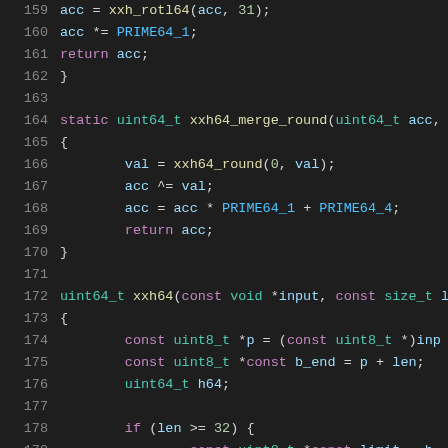Source code listing, lines 159-180, xxh64 hash implementation in C